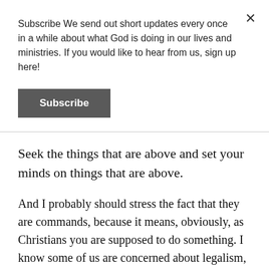Subscribe We send out short updates every once in a while about what God is doing in our lives and ministries. If you would like to hear from us, sign up here!
Subscribe
Seek the things that are above and set your minds on things that are above.
And I probably should stress the fact that they are commands, because it means, obviously, as Christians you are supposed to do something. I know some of us are concerned about legalism, and because we are concerned about legalism, we are concerned anytime someone tells us to do something, we’re like, that’s legalism, but that’s